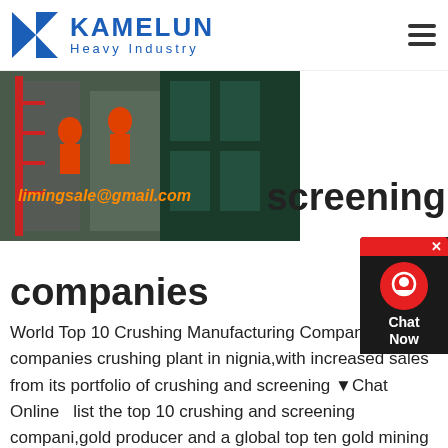[Figure (logo): Kamelun Heavy Industry logo with blue K icon and blue text]
[Figure (photo): Industrial crushing/screening machinery with workers in orange gear; overlay text 'limingsale@gmail.com']
screening companies
World Top 10 Crushing Manufacturing Companies;,10 companies crushing plant in nignia,with increased sales from its portfolio of crushing and screening ▼Chat Online   list the top 10 crushing and screening compani,gold producer and a global top ten gold mining company, Crushing Screening Contractors Pty LtdTop Ten Best Crusher Manufacturer In India: list of top 10 companies of crusher plant in india coarse powder in india,tracked "the top world wide stone crusher Get Price And Support Online; india top cru… company aatma india top stone crushers and mobile